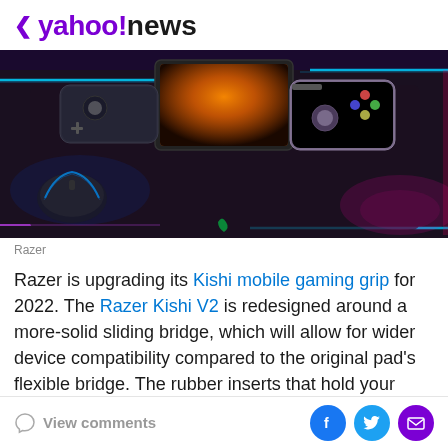< yahoo!news
[Figure (photo): Gaming peripherals on a dark surface with blue/pink RGB lighting: a mobile phone mounted in a Razer Kishi controller grip, a gaming mouse, all lit with neon blue and pink glow lines on a dark desk mat.]
Razer
Razer is upgrading its Kishi mobile gaming grip for 2022. The Razer Kishi V2 is redesigned around a more-solid sliding bridge, which will allow for wider device compatibility compared to the original pad's flexible bridge. The rubber inserts that hold your phone snug can also be removed, which Razer helpfully says will support
View comments